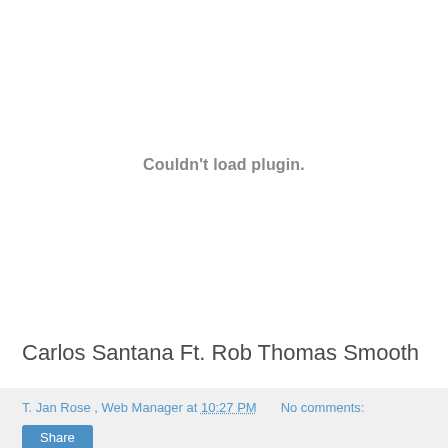[Figure (other): Plugin embed area showing error message: Couldn't load plugin.]
Carlos Santana Ft. Rob Thomas Smooth
T. Jan Rose , Web Manager at 10:27 PM    No comments:
Share